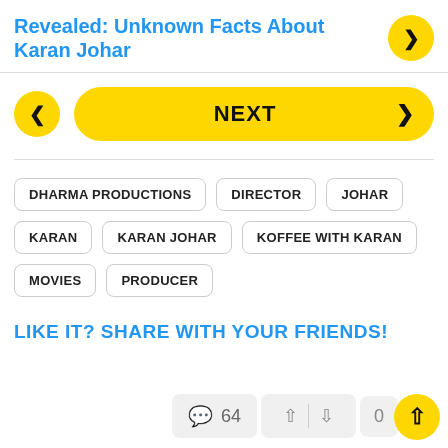Revealed: Unknown Facts About Karan Johar
NEXT
DHARMA PRODUCTIONS
DIRECTOR
JOHAR
KARAN
KARAN JOHAR
KOFFEE WITH KARAN
MOVIES
PRODUCER
LIKE IT? SHARE WITH YOUR FRIENDS!
64